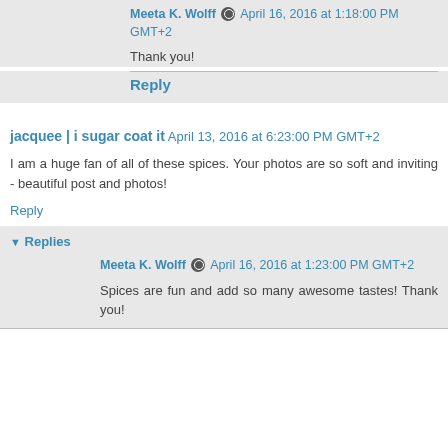Meeta K. Wolff [icon] April 16, 2016 at 1:18:00 PM GMT+2
Thank you!
Reply
jacquee | i sugar coat it  April 13, 2016 at 6:23:00 PM GMT+2
I am a huge fan of all of these spices. Your photos are so soft and inviting - beautiful post and photos!
Reply
▾ Replies
Meeta K. Wolff [icon] April 16, 2016 at 1:23:00 PM GMT+2
Spices are fun and add so many awesome tastes! Thank you!